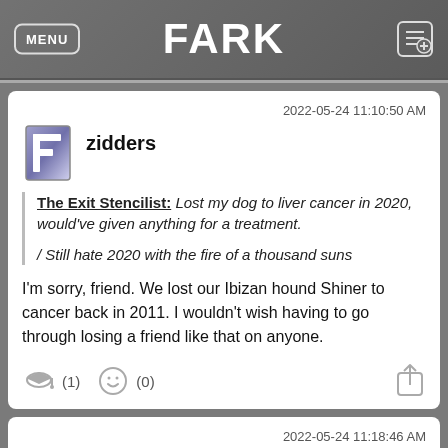MENU | FARK
2022-05-24 11:10:50 AM
zidders
The Exit Stencilist: Lost my dog to liver cancer in 2020, would've given anything for a treatment.
/ Still hate 2020 with the fire of a thousand suns
I'm sorry, friend. We lost our Ibizan hound Shiner to cancer back in 2011. I wouldn't wish having to go through losing a friend like that on anyone.
2022-05-24 11:18:46 AM
To The Escape Zeppelin!